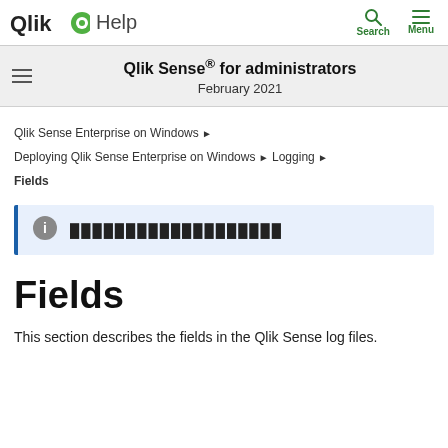Qlik Sense® for administrators
February 2021
Qlik Sense Enterprise on Windows ▶
Deploying Qlik Sense Enterprise on Windows ▶ Logging ▶
Fields
🛈 ████████████████████
Fields
This section describes the fields in the Qlik Sense log files.